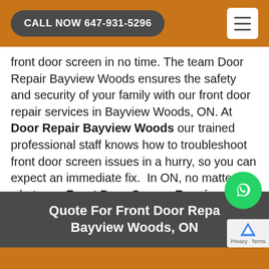CALL NOW 647-931-5296
front door screen in no time. The team Door Repair Bayview Woods ensures the safety and security of your family with our front door repair services in Bayview Woods, ON. At Door Repair Bayview Woods our trained professional staff knows how to troubleshoot front door screen issues in a hurry, so you can expect an immediate fix.  In ON, no matter what your Front Door Screen Repair needs are, Door Repair Bayview Woods is always ready to meet your needs.
Quote For Front Door Repair Bayview Woods, ON